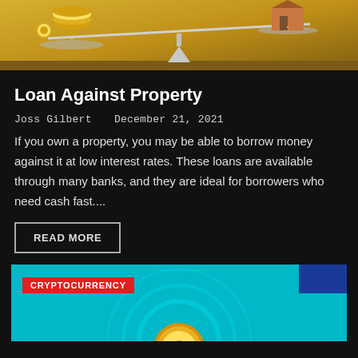[Figure (photo): A balance scale with gold coins on the left side and a house/property on the right side, set against a golden-brown background. Represents loan against property concept.]
Loan Against Property
Joss Gilbert  December 21, 2021
If you own a property, you may be able to borrow money against it at low interest rates. These loans are available through many banks, and they are ideal for borrowers who need cash fast....
READ MORE
[Figure (photo): A teal/cyan background image with a cryptocurrency badge label in red reading 'CRYPTOCURRENCY', with a large gold coin visible at the bottom center, and circular arc design elements.]